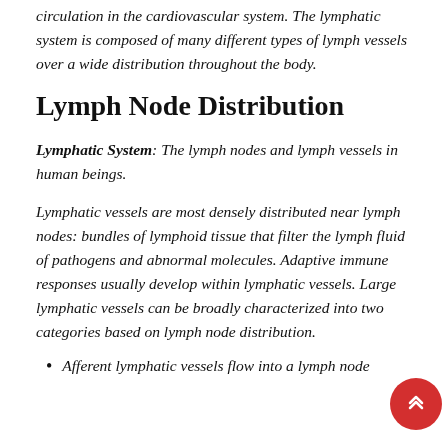circulation in the cardiovascular system. The lymphatic system is composed of many different types of lymph vessels over a wide distribution throughout the body.
Lymph Node Distribution
Lymphatic System: The lymph nodes and lymph vessels in human beings.
Lymphatic vessels are most densely distributed near lymph nodes: bundles of lymphoid tissue that filter the lymph fluid of pathogens and abnormal molecules. Adaptive immune responses usually develop within lymphatic vessels. Large lymphatic vessels can be broadly characterized into two categories based on lymph node distribution.
Afferent lymphatic vessels flow into a lymph node